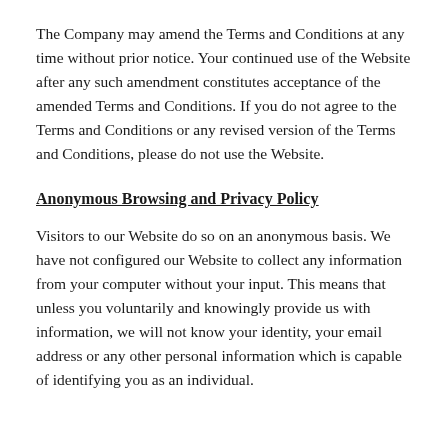The Company may amend the Terms and Conditions at any time without prior notice. Your continued use of the Website after any such amendment constitutes acceptance of the amended Terms and Conditions. If you do not agree to the Terms and Conditions or any revised version of the Terms and Conditions, please do not use the Website.
Anonymous Browsing and Privacy Policy
Visitors to our Website do so on an anonymous basis. We have not configured our Website to collect any information from your computer without your input. This means that unless you voluntarily and knowingly provide us with information, we will not know your identity, your email address or any other personal information which is capable of identifying you as an individual.